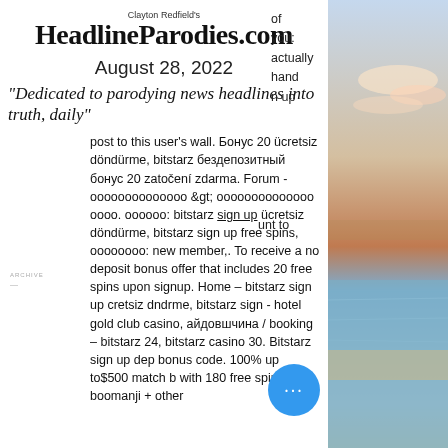Clayton Redfield's HeadlineParodies.com
August 28, 2022
"Dedicated to parodying news headlines into truth, daily"
post to this user's wall. Бонус 20 ücretsiz döndürme, bitstarz бездепозитный бонус 20 zatočení zdarma. Forum - ооооооооооооо &gt; ооооооооооооо оооо. оооооо: bitstarz sign up ücretsiz döndürme, bitstarz sign up free spins, оооооооо: new member,. To receive a no deposit bonus offer that includes 20 free spins upon signup. Home – bitstarz sign up cretsiz dndrme, bitstarz sign - hotel gold club casino, айдовшчина / booking – bitstarz 24, bitstarz casino 30. Bitstarz sign up dep bonus code. 100% up to$500 match b with 180 free spinson boomanji + other
[Figure (photo): Coastal sunset scene with ocean, beach, and sky with clouds]